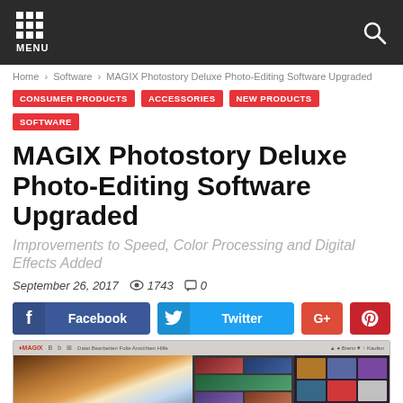MENU
Home › Software › MAGIX Photostory Deluxe Photo-Editing Software Upgraded
CONSUMER PRODUCTS
ACCESSORIES
NEW PRODUCTS
SOFTWARE
MAGIX Photostory Deluxe Photo-Editing Software Upgraded
Improvements to Speed, Color Processing and Digital Effects Added
September 26, 2017  👁 1743  💬 0
[Figure (screenshot): Social share buttons: Facebook, Twitter, Google+, Pinterest]
[Figure (screenshot): MAGIX Photostory Deluxe software interface showing photo editing panels with cave photo and color effect thumbnails]